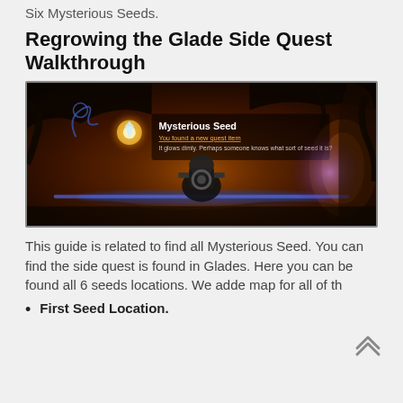Six Mysterious Seeds.
Regrowing the Glade Side Quest Walkthrough
[Figure (screenshot): In-game screenshot showing a dark atmospheric scene with an item pickup notification reading 'Mysterious Seed - You found a new quest item. It glows dimly. Perhaps someone knows what sort of seed it is?' with a glowing golden circular icon on the left, a mechanical robot/character in the center background, and purple and orange glowing lights in a cave-like environment.]
This guide is related to find all Mysterious Seed. You can find the side quest is found in Glades. Here you can be found all 6 seeds locations. We adde map for all of th
First Seed Location.